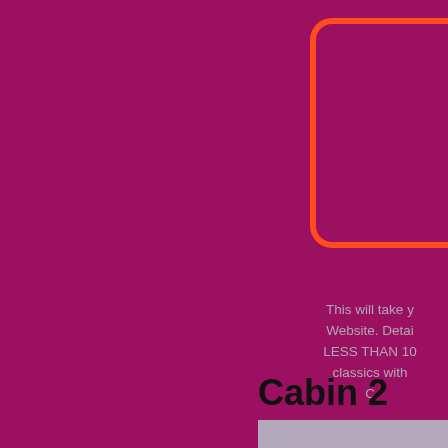[Figure (illustration): Orange rounded rectangle border/outline positioned in upper right area on dark magenta/crimson background. Partially cropped on the right edge.]
This will take y Website. Detai LESS THAN 10 classics with C
Cabin 2
[Figure (other): Gray/blue-gray horizontal bar at bottom right of the page, partially visible.]